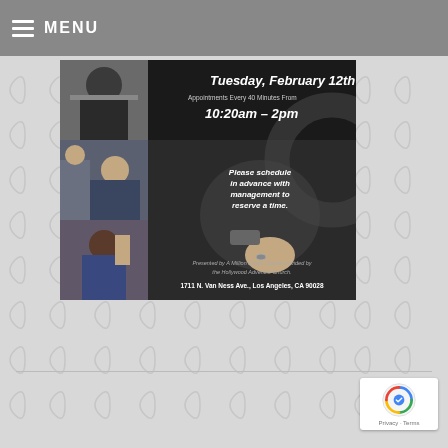MENU
[Figure (photo): Event flyer for haircut appointments on Tuesday, February 12th. Left side shows a collage of three photos of people getting haircuts. Right side is a dark panel with event details: Tuesday, February 12th, Appointments Every 40 Minutes From 10:20am - 2pm. Please schedule in advance with management to reserve a time. Presented by A Million Drops. Space provided by the Hollywood Adventist Church. 1711 N. Van Ness Ave., Los Angeles, CA 90028.]
[Figure (logo): Google reCAPTCHA badge with logo icon and Privacy - Terms text]